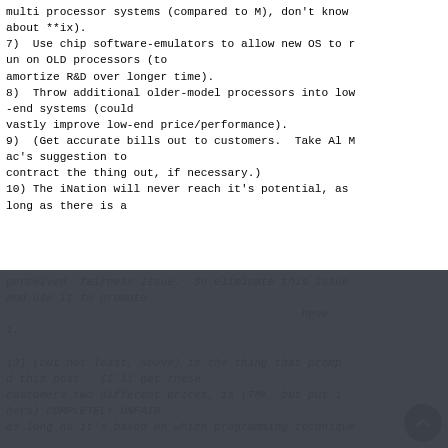multi processor systems (compared to M), don't know
about **ix).
7)  Use chip software-emulators to allow new OS to r
un on OLD processors (to
amortize R&D over longer time).
8)  Throw additional older-model processors into low
-end systems (could
vastly improve low-end price/performance).
9)  (Get accurate bills out to customers.  Take Al M
ac's suggestion to
contract the thing out, if necessary.)
10) The iNation will never reach it's potential, as
long as there is a
perceived  fairness issue.  So eliminate this issue
and use it to promote...
[Figure (screenshot): Cookie consent overlay with text 'This website uses cookies to ensure you get the best experience on our website.' and a 'Learn more' link and a 'Got it!' button in blue.]
...these
1...
13) (but not least, above) is the thing that promp
d this post.  (I'll get these
customers two different prices, is (TMK, but put i
hers) COMPLETELY UNFAIR.
as long as it's based on which programming technique